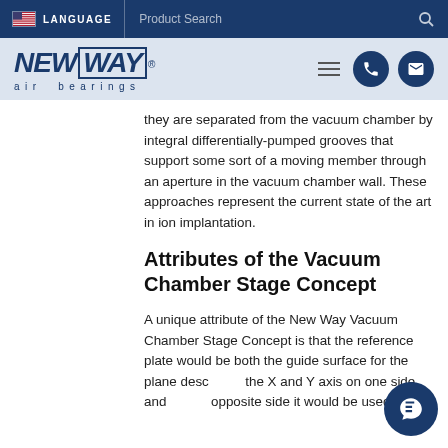LANGUAGE | Product Search
[Figure (logo): New Way air bearings logo with navigation icons]
they are separated from the vacuum chamber by integral differentially-pumped grooves that support some sort of a moving member through an aperture in the vacuum chamber wall. These approaches represent the current state of the art in ion implantation.
Attributes of the Vacuum Chamber Stage Concept
A unique attribute of the New Way Vacuum Chamber Stage Concept is that the reference plate would be both the guide surface for the plane describing the X and Y axis on one side, and on the opposite side it would be used for the